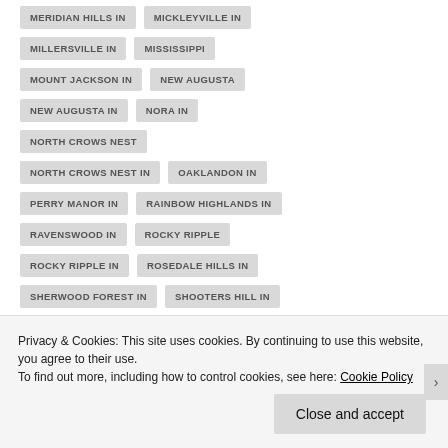MERIDIAN HILLS IN
MICKLEYVILLE IN
MILLERSVILLE IN
MISSISSIPPI
MOUNT JACKSON IN
NEW AUGUSTA
NEW AUGUSTA IN
NORA IN
NORTH CROWS NEST
NORTH CROWS NEST IN
OAKLANDON IN
PERRY MANOR IN
RAINBOW HIGHLANDS IN
RAVENSWOOD IN
ROCKY RIPPLE
ROCKY RIPPLE IN
ROSEDALE HILLS IN
SHERWOOD FOREST IN
SHOOTERS HILL IN
SNACKS IN
SOUTHPORT IN
SPEEDWAY IN
Privacy & Cookies: This site uses cookies. By continuing to use this website, you agree to their use.
To find out more, including how to control cookies, see here: Cookie Policy